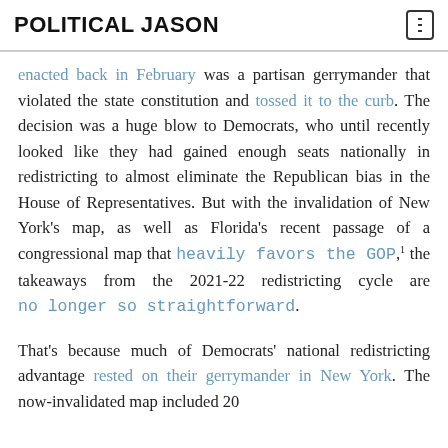POLITICAL JASON
enacted back in February was a partisan gerrymander that violated the state constitution and tossed it to the curb. The decision was a huge blow to Democrats, who until recently looked like they had gained enough seats nationally in redistricting to almost eliminate the Republican bias in the House of Representatives. But with the invalidation of New York's map, as well as Florida's recent passage of a congressional map that heavily favors the GOP,¹ the takeaways from the 2021-22 redistricting cycle are no longer so straightforward.
That's because much of Democrats' national redistricting advantage rested on their gerrymander in New York. The now-invalidated map included 20